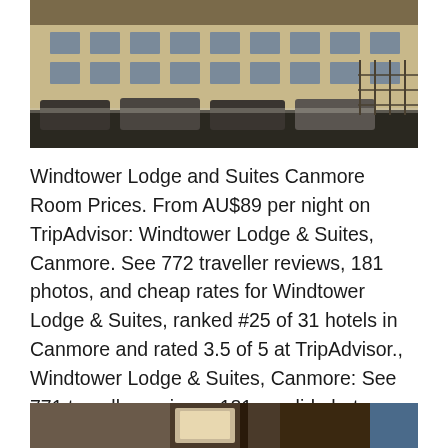[Figure (photo): Exterior photo of Windtower Lodge and Suites building in Canmore, showing the building facade with parking lot in front, cars visible, winter scene]
Windtower Lodge and Suites Canmore Room Prices. From AU$89 per night on TripAdvisor: Windtower Lodge & Suites, Canmore. See 772 traveller reviews, 181 photos, and cheap rates for Windtower Lodge & Suites, ranked #25 of 31 hotels in Canmore and rated 3.5 of 5 at TripAdvisor., Windtower Lodge & Suites, Canmore: See 771 traveller reviews, 181 candid photos, and great deals for Windtower Lodge & Suites, ranked #25 of 31 hotels in Canmore and rated 3.5 of 5 at TripAdvisor..
[Figure (photo): Partial interior photo of Windtower Lodge and Suites showing room interior, partially cut off at bottom of page]